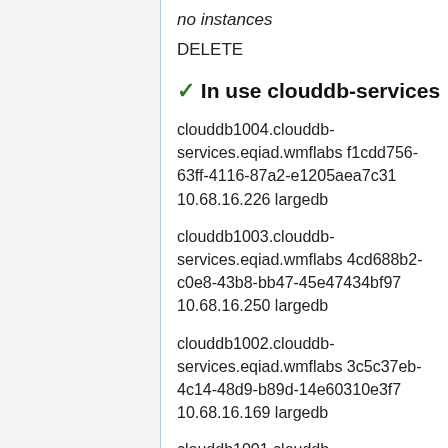no instances
DELETE
✓ In use clouddb-services
clouddb1004.clouddb-services.eqiad.wmflabs f1cdd756-63ff-4116-87a2-e1205aea7c31 10.68.16.226 largedb
clouddb1003.clouddb-services.eqiad.wmflabs 4cd688b2-c0e8-43b8-bb47-45e47434bf97 10.68.16.250 largedb
clouddb1002.clouddb-services.eqiad.wmflabs 3c5c37eb-4c14-48d9-b89d-14e60310e3f7 10.68.16.169 largedb
clouddb1001.clouddb-services.eqiad.wmflabs 9b357373-9f02-